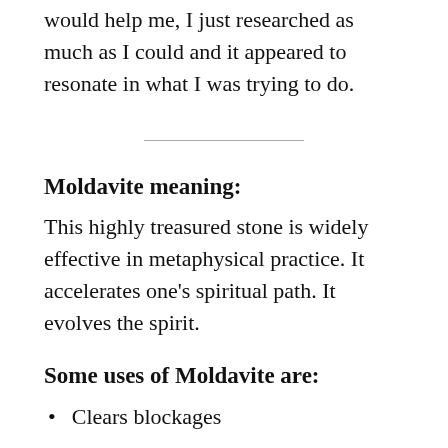would help me, I just researched as much as I could and it appeared to resonate in what I was trying to do.
Moldavite meaning:
This highly treasured stone is widely effective in metaphysical practice. It accelerates one's spiritual path. It evolves the spirit.
Some uses of Moldavite are:
Clears blockages
Awakens the intelligence of the heart
Discovers one's hidden talents